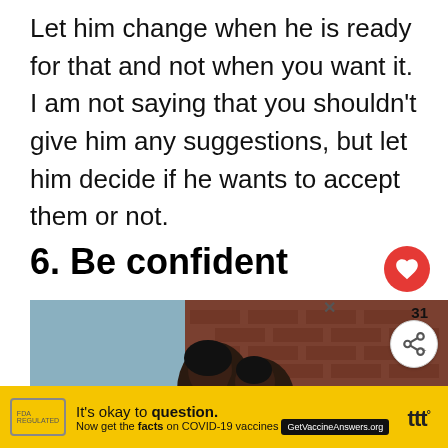Let him change when he is ready for that and not when you want it. I am not saying that you shouldn’t give him any suggestions, but let him decide if he wants to accept them or not.
6. Be confident
[Figure (photo): A couple embracing and kissing in front of a brick wall background. Social media UI overlays visible including share count (31), share button, and a 'What's Next' recommendation panel for '10 Things The Man Of Your...']
[Figure (screenshot): Yellow advertisement banner: 'It's okay to question. Now get the facts on COVID-19 vaccines GetVaccineAnswers.org' with a stamp logo. Close button (X) visible. Tubi icon on the right.]